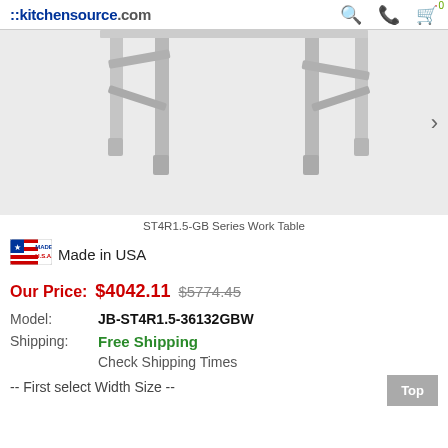::kitchensource.com
[Figure (photo): Close-up photo of stainless steel work table legs and frame (ST4R1.5-GB Series Work Table) on a light grey background]
ST4R1.5-GB Series Work Table
[Figure (logo): Made in USA flag badge logo with text MADE U.S.A.]
Made in USA
Our Price: $4042.11 $5774.45
| Model: | JB-ST4R1.5-36132GBW |
| Shipping: | Free Shipping |
|  | Check Shipping Times |
-- First select Width Size --